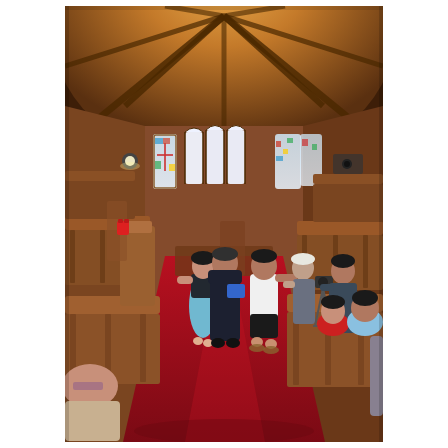[Figure (photo): Interior of a wooden church chapel with a vaulted octagonal wooden ceiling and warm amber lighting. Colorful stained glass windows line the walls. A red carpet runs down the center aisle between wooden pews. In the center of the aisle, several people are gathered — a woman in a light blue dress, a man in a dark suit facing her, and a young man in a white t-shirt and black shorts. On the right side, spectators sit in pews and stand with a video camera on a tripod. The scene appears to be a rehearsal or informal ceremony.]